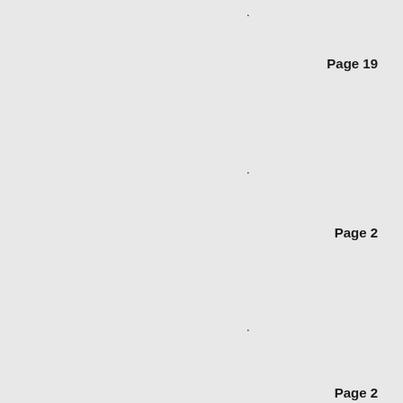.
Page 19
.
Page 2
.
Page 2
.
Page 2
.
Page 2
.
Page 2